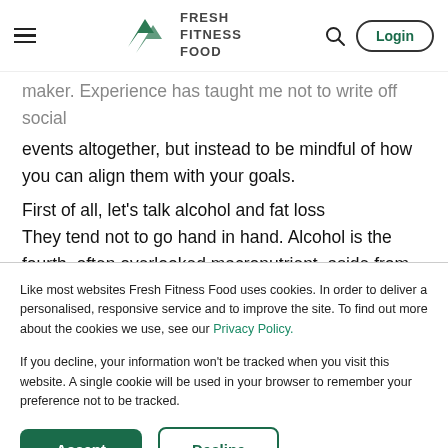Fresh Fitness Food — navigation header with logo, hamburger menu, search icon, and Login button
maker. Experience has taught me not to write off social events altogether, but instead to be mindful of how you can align them with your goals.
First of all, let's talk alcohol and fat loss
They tend not to go hand in hand. Alcohol is the fourth, often overlooked macronutrient, aside from protein,
Like most websites Fresh Fitness Food uses cookies. In order to deliver a personalised, responsive service and to improve the site. To find out more about the cookies we use, see our Privacy Policy.
If you decline, your information won't be tracked when you visit this website. A single cookie will be used in your browser to remember your preference not to be tracked.